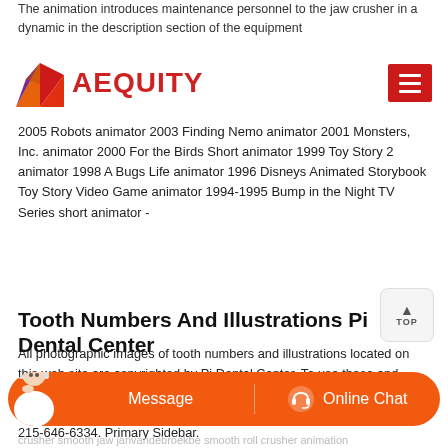The animation introduces maintenance personnel to the jaw crusher in a dynamic in the description section of the equipment
[Figure (logo): Aequity logo with geometric diamond icon in orange, purple, red and the wordmark AEQUITY in red, plus a red hamburger menu button on the right]
2005 Robots animator 2003 Finding Nemo animator 2001 Monsters, Inc. animator 2000 For the Birds Short animator 1999 Toy Story 2 animator 1998 A Bugs Life animator 1996 Disneys Animated Storybook Toy Story Video Game animator 1994-1995 Bump in the Night TV Series short animator -
Tooth Numbers And Illustrations Pi Dental Center
All photographic images of tooth numbers and illustrations located on this web site are copyrighted by Pi Dental Center. To use these and other illustrations, please contact us with your request. Include a description of the purpose and location for placement. For more info, call 215-646-6334. Primary Sidebar.
[Figure (infographic): Orange rounded chat bar with support agent avatar on the left, Message button in the center, and Online Chat button with headset icon on the right]
crusher smooth jaw janvandebroekbe smooth roll crusher animation